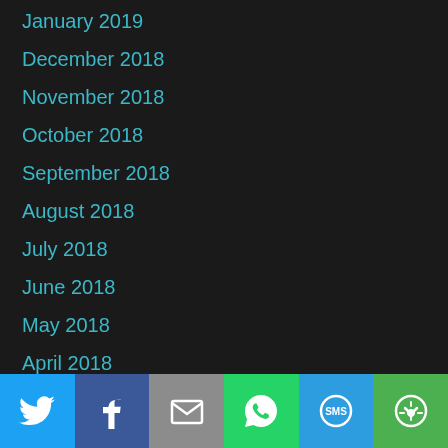January 2019
December 2018
November 2018
October 2018
September 2018
August 2018
July 2018
June 2018
May 2018
April 2018
March 2018
February 2018
January 2018
[Figure (infographic): Social share bar with Twitter, Facebook, Email, WhatsApp, SMS, and More buttons]